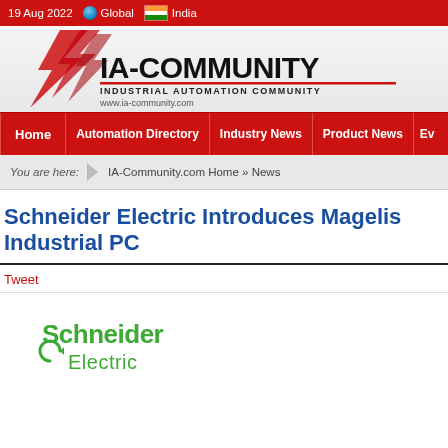19 Aug 2022   Global   India
[Figure (logo): IA-Community - Industrial Automation Community logo with red lightning bolts, text: IA-COMMUNITY INDUSTRIAL AUTOMATION COMMUNITY www.ia-community.com]
Home | Automation Directory | Industry News | Product News | Ev...
You are here: IA-Community.com Home » News
Schneider Electric Introduces Magelis Industrial PC
Tweet
[Figure (logo): Schneider Electric logo in green with lifecycle symbol]